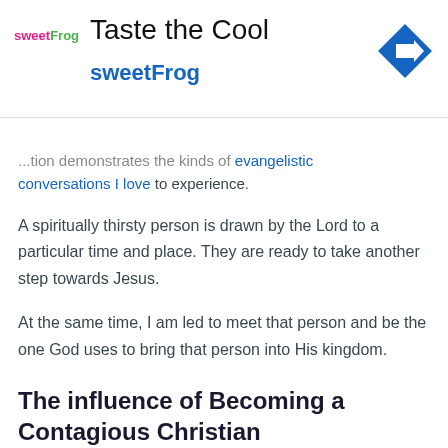[Figure (infographic): Advertisement banner for sweetFrog frozen yogurt — logo on left, 'Taste the Cool' title, 'sweetFrog' subtitle in blue, blue diamond arrow icon on right]
...tion demonstrates the kinds of evangelistic conversations I love to experience.
A spiritually thirsty person is drawn by the Lord to a particular time and place. They are ready to take another step towards Jesus.
At the same time, I am led to meet that person and be the one God uses to bring that person into His kingdom.
The influence of Becoming a Contagious Christian